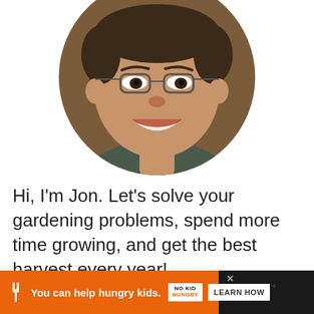[Figure (photo): Circular cropped headshot photo of a smiling man with glasses and short dark hair]
Hi, I'm Jon. Let's solve your gardening problems, spend more time growing, and get the best harvest every year!
[Figure (infographic): Orange advertisement bar at the bottom: 'You can help hungry kids.' with No Kid Hungry logo and 'LEARN HOW' button, on a black background with weather app logo on the right]